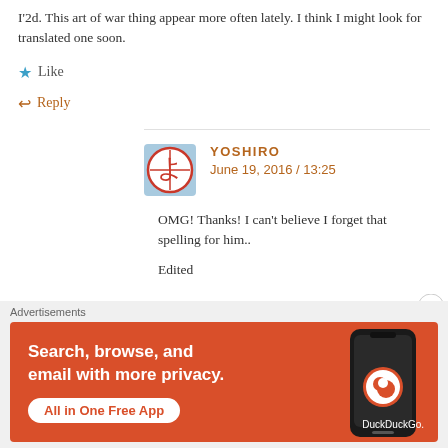I'2d. This art of war thing appear more often lately. I think I might look for translated one soon.
★ Like
↩ Reply
YOSHIRO
June 19, 2016 / 13:25
OMG! Thanks! I can't believe I forget that spelling for him..
Edited
[Figure (infographic): DuckDuckGo advertisement banner: orange background with white text 'Search, browse, and email with more privacy. All in One Free App' and a phone image with DuckDuckGo logo]
Advertisements